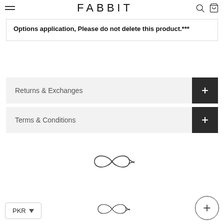FABBIT
Options application, Please do not delete this product.***
Returns & Exchanges
Terms & Conditions
[Figure (logo): Fabbitt brand logo mark - infinity/fish symbol]
[Figure (logo): Fabbitt brand logo mark - infinity/fish symbol (smaller, bottom)]